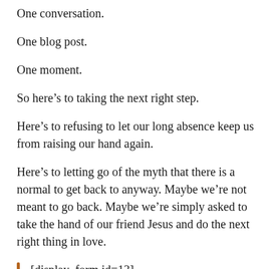One conversation.
One blog post.
One moment.
So here’s to taking the next right step.
Here’s to refusing to let our long absence keep us from raising our hand again.
Here’s to letting go of the myth that there is a normal to get back to anyway. Maybe we’re not meant to go back. Maybe we’re simply asked to take the hand of our friend Jesus and do the next right thing in love.
[display_form id=13]